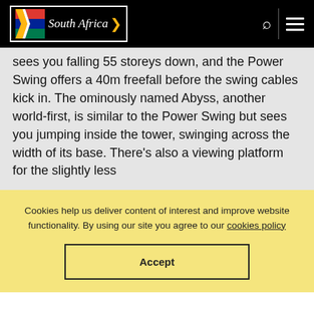South Africa [logo with flag] — navigation bar with search and menu icons
sees you falling 55 storeys down, and the Power Swing offers a 40m freefall before the swing cables kick in. The ominously named Abyss, another world-first, is similar to the Power Swing but sees you jumping inside the tower, swinging across the width of its base. There's also a viewing platform for the slightly less
Cookies help us deliver content of interest and improve website functionality. By using our site you agree to our cookies policy
Accept